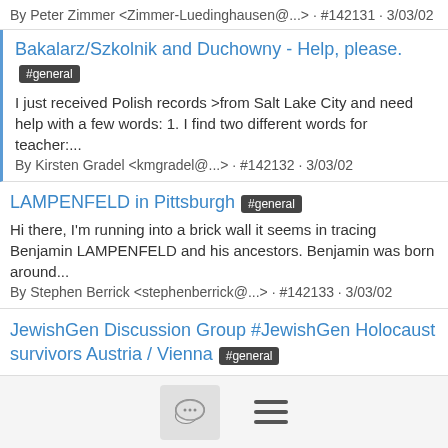By Peter Zimmer <Zimmer-Luedinghausen@...> · #142131 · 3/03/02
Bakalarz/Szkolnik and Duchowny - Help, please.
#general
I just received Polish records >from Salt Lake City and need help with a few words: 1. I find two different words for teacher:...
By Kirsten Gradel <kmgradel@...> · #142132 · 3/03/02
LAMPENFELD in Pittsburgh #general
Hi there, I'm running into a brick wall it seems in tracing Benjamin LAMPENFELD and his ancestors. Benjamin was born around...
By Stephen Berrick <stephenberrick@...> · #142133 · 3/03/02
JewishGen Discussion Group #JewishGen Holocaust survivors Austria / Vienna #general
Are there any lists of Holocaust survivors >from Austria, specially Vienna. Is it also possible to find out if survivors returned to...
By Peter Zimmer <Zimmer-Luedinghausen@...> · #462444 ·